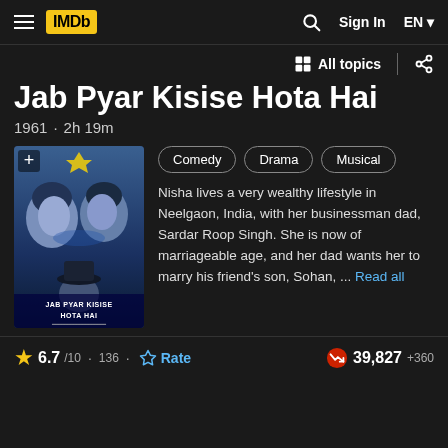IMDb — Sign In  EN
All topics
Jab Pyar Kisise Hota Hai
1961 · 2h 19m
[Figure (photo): Movie poster for Jab Pyar Kisise Hota Hai showing two people in blue-tinted close-up with a man in a hat below, and the movie title text at bottom]
Comedy
Drama
Musical
Nisha lives a very wealthy lifestyle in Neelgaon, India, with her businessman dad, Sardar Roop Singh. She is now of marriageable age, and her dad wants her to marry his friend's son, Sohan, ... Read all
6.7/10 · 136 · Rate · 39,827 +360